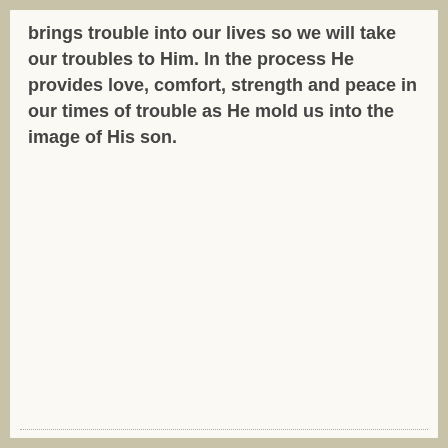brings trouble into our lives so we will take our troubles to Him. In the process He provides love, comfort, strength and peace in our times of trouble as He mold us into the image of His son.